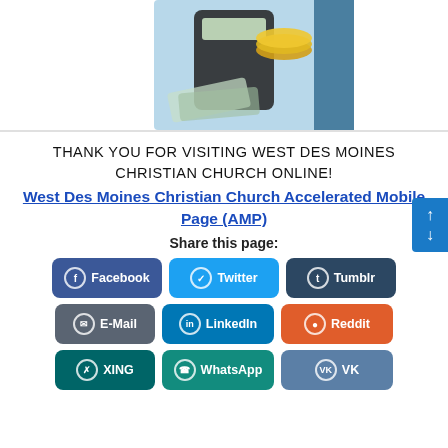[Figure (illustration): Partial image of money/cash and a calculator on a light blue background, cropped at top]
THANK YOU FOR VISITING WEST DES MOINES CHRISTIAN CHURCH ONLINE!
West Des Moines Christian Church Accelerated Mobile Page (AMP)
Share this page:
[Figure (infographic): Row of social share buttons: Facebook, Twitter, Tumblr, E-Mail, LinkedIn, Reddit, XING, WhatsApp, VK]